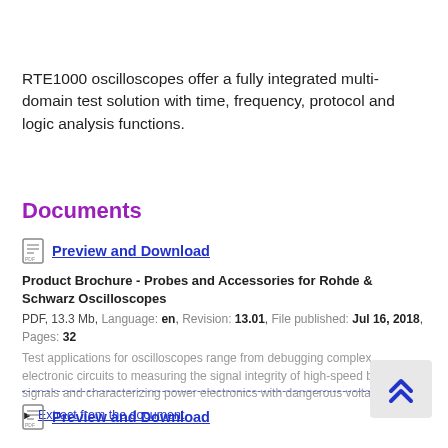RTE1000 oscilloscopes offer a fully integrated multi-domain test solution with time, frequency, protocol and logic analysis functions.
Documents
Preview and Download
Product Brochure - Probes and Accessories for Rohde & Schwarz Oscilloscopes
PDF, 13.3 Mb, Language: en, Revision: 13.01, File published: Jul 16, 2018, Pages: 32
Test applications for oscilloscopes range from debugging complex electronic circuits to measuring the signal integrity of high-speed bus signals and characterizing power electronics with dangerous voltage levels.
▶ Extract from the document
Preview and Download